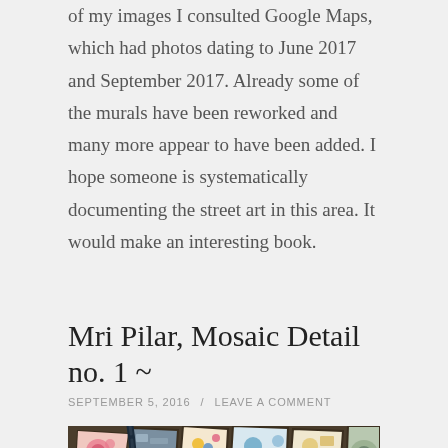of my images I consulted Google Maps, which had photos dating to June 2017 and September 2017. Already some of the murals have been reworked and many more appear to have been added. I hope someone is systematically documenting the street art in this area. It would make an interesting book.
Mri Pilar, Mosaic Detail no. 1 ~
SEPTEMBER 5, 2016 / LEAVE A COMMENT
[Figure (photo): Close-up photograph of a colorful mosaic artwork featuring broken ceramic pieces with floral patterns (pink roses, yellow and blue flowers) set in dark grout, with dark twisted rope or bead-like decorative elements forming curved lines across the mosaic.]